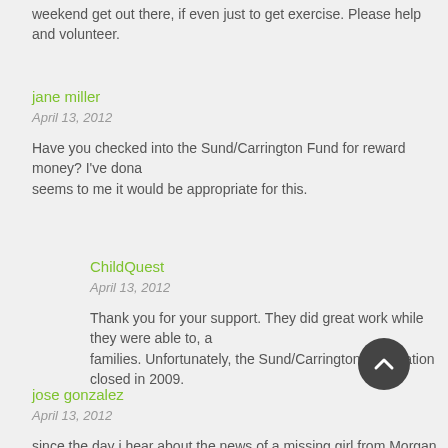weekend get out there, if even just to get exercise. Please help and volunteer.
jane miller
April 13, 2012
Have you checked into the Sund/Carrington Fund for reward money? I've dona... seems to me it would be appropriate for this.
ChildQuest
April 13, 2012
Thank you for your support. They did great work while they were able to, a... families. Unfortunately, the Sund/Carrington Foundation closed in 2009.
jose gonzalez
April 13, 2012
since the day i hear about the news of a missing girl from Morgan Hill it hit me...